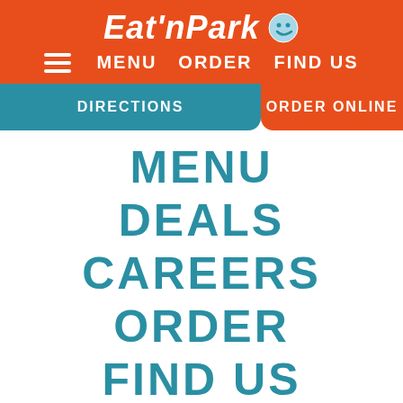[Figure (logo): Eat'n Park logo with smiley face icon on orange background]
MENU  ORDER  FIND US
DIRECTIONS | ORDER ONLINE
MENU
DEALS
CAREERS
ORDER
FIND US